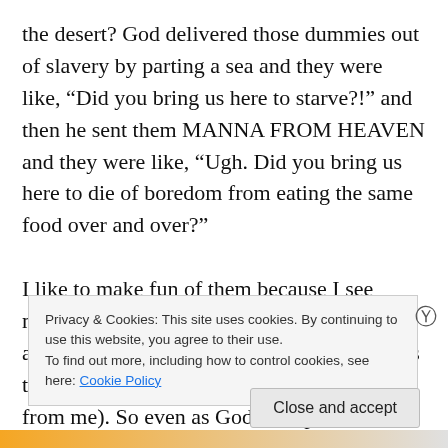the desert? God delivered those dummies out of slavery by parting a sea and they were like, “Did you bring us here to starve?!” and then he sent them MANNA FROM HEAVEN and they were like, “Ugh. Did you bring us here to die of boredom from eating the same food over and over?”

I like to make fun of them because I see myself in them so much. My whining skills are top-notch. (My husband says he shudders to think that our children will inherit that from me). So even as God has opened doors and provided for
Privacy & Cookies: This site uses cookies. By continuing to use this website, you agree to their use.
To find out more, including how to control cookies, see here: Cookie Policy
Close and accept